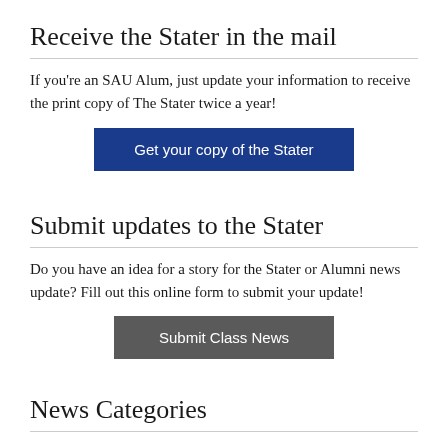Receive the Stater in the mail
If you're an SAU Alum, just update your information to receive the print copy of The Stater twice a year!
[Figure (other): Blue button labeled 'Get your copy of the Stater']
Submit updates to the Stater
Do you have an idea for a story for the Stater or Alumni news update? Fill out this online form to submit your update!
[Figure (other): Gray button labeled 'Submit Class News']
News Categories
Alumni Updates